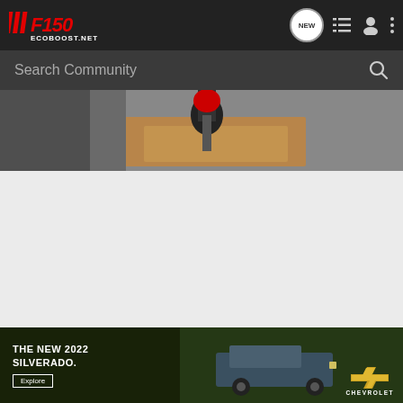[Figure (screenshot): F150 EcoBoost.net navigation bar with logo, NEW chat icon, list icon, user icon, and more options icon on dark background]
[Figure (screenshot): Search Community input bar with magnifying glass icon on dark gray background]
[Figure (photo): Partial photo of a drill working on wood/cardboard on a concrete surface]
[Figure (photo): Gray placeholder/blank content area]
[Figure (screenshot): Chevrolet advertisement banner for The New 2022 Silverado with Explore button and Chevrolet bowtie logo, dark green background with truck]